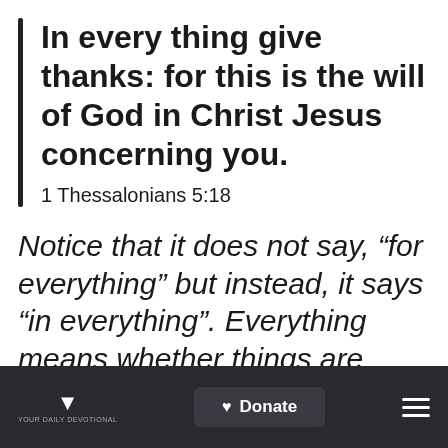In every thing give thanks: for this is the will of God in Christ Jesus concerning you.
1 Thessalonians 5:18
Notice that it does not say, “for everything” but instead, it says “in everything”. Everything means whether things are going well or whether they are not; no matter what
Donate